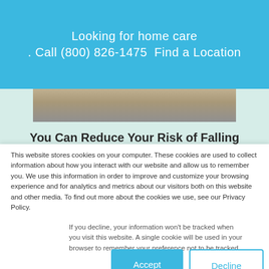Looking for home care
. Call (800) 826-1475  Find a Location
[Figure (photo): Partial photo strip showing people outdoors (top, cropped)]
You Can Reduce Your Risk of Falling
[Figure (photo): Partial photo strip showing outdoor greenery scene (bottom, cropped)]
This website stores cookies on your computer. These cookies are used to collect information about how you interact with our website and allow us to remember you. We use this information in order to improve and customize your browsing experience and for analytics and metrics about our visitors both on this website and other media. To find out more about the cookies we use, see our Privacy Policy.
If you decline, your information won't be tracked when you visit this website. A single cookie will be used in your browser to remember your preference not to be tracked.